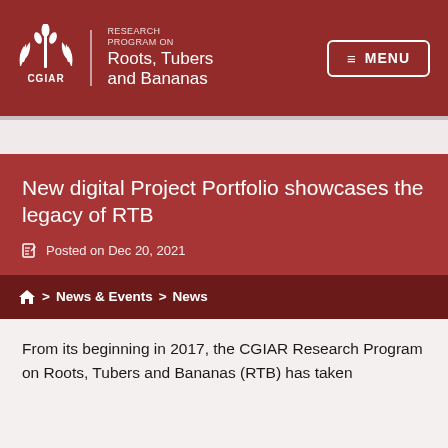[Figure (logo): CGIAR Research Program on Roots, Tubers and Bananas logo with wheat/plant emblem and CGIAR text]
New digital Project Portfolio showcases the legacy of RTB
Posted on Dec 20, 2021
Home > News & Events > News
From its beginning in 2017, the CGIAR Research Program on Roots, Tubers and Bananas (RTB) has taken